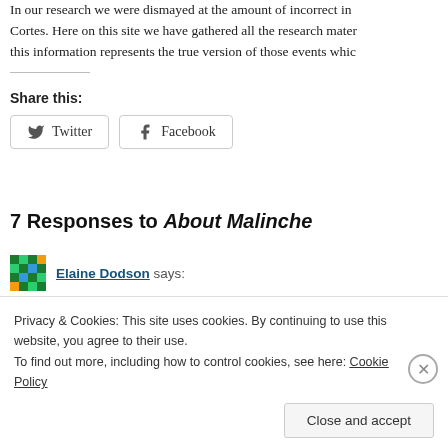In our research we were dismayed at the amount of incorrect in... Cortes. Here on this site we have gathered all the research mater... this information represents the true version of those events whic...
Share this:
[Figure (other): Twitter and Facebook share buttons]
7 Responses to About Malinche
Elaine Dodson says:
Privacy & Cookies: This site uses cookies. By continuing to use this website, you agree to their use.
To find out more, including how to control cookies, see here: Cookie Policy
Close and accept